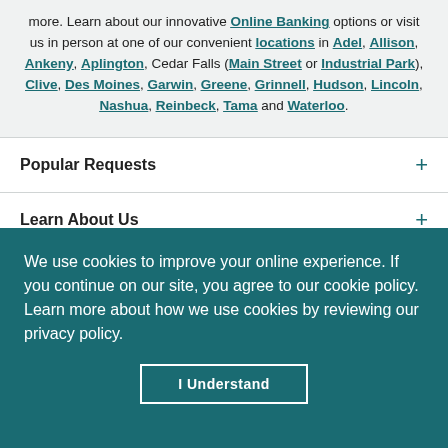more. Learn about our innovative Online Banking options or visit us in person at one of our convenient locations in Adel, Allison, Ankeny, Aplington, Cedar Falls (Main Street or Industrial Park), Clive, Des Moines, Garwin, Greene, Grinnell, Hudson, Lincoln, Nashua, Reinbeck, Tama and Waterloo.
Popular Requests
Learn About Us
We use cookies to improve your online experience. If you continue on our site, you agree to our cookie policy. Learn more about how we use cookies by reviewing our privacy policy.
I Understand